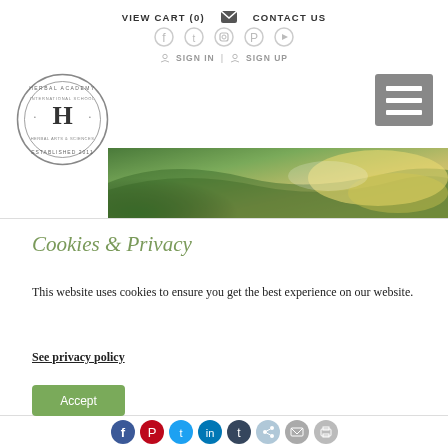VIEW CART (0)   ✉ CONTACT US
Social icons: Facebook, Twitter, Instagram, Pinterest, YouTube
SIGN IN  |  SIGN UP
[Figure (logo): Herbal Academy International School circular logo with H in center, Established 2011]
[Figure (photo): Close-up photo of green and yellow/olive colored herbs or plant material]
Cookies & Privacy
This website uses cookies to ensure you get the best experience on our website.
See privacy policy
Accept
Social share icons: Facebook, Pinterest, Twitter, LinkedIn, Tumblr, ShareThis, Email, Print